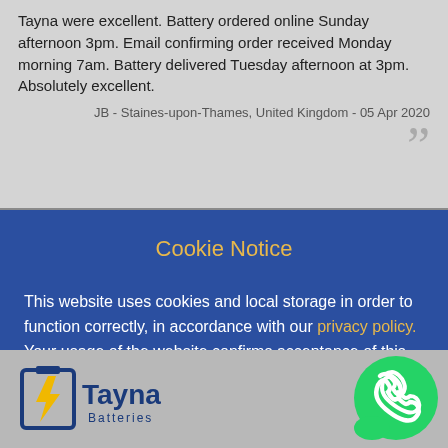Tayna were excellent. Battery ordered online Sunday afternoon 3pm. Email confirming order received Monday morning 7am. Battery delivered Tuesday afternoon at 3pm. Absolutely excellent.
JB - Staines-upon-Thames, United Kingdom - 05 Apr 2020
Cookie Notice
This website uses cookies and local storage in order to function correctly, in accordance with our privacy policy. Your usage of the website confirms acceptance of this.
Ok
[Figure (logo): Tayna Batteries logo with lightning bolt icon]
[Figure (logo): WhatsApp green circular phone icon]